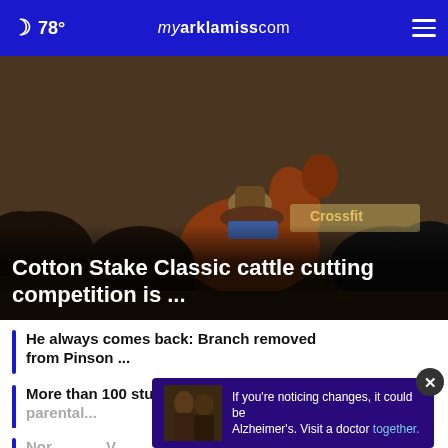78° myarklamiss.com
[Figure (photo): A horse with a rider and cattle at the Cotton Stake Classic cattle cutting competition, with a Crossfit banner visible in the background.]
Cotton Stake Classic cattle cutting competition is ...
He always comes back: Branch removed from Pinson ...
More than 100 students baptized hout parental...
Nor... V... Peri...
[Figure (photo): Advertisement: Two men, text reads 'If you're noticing changes, it could be Alzheimer's. Visit a doctor together.']